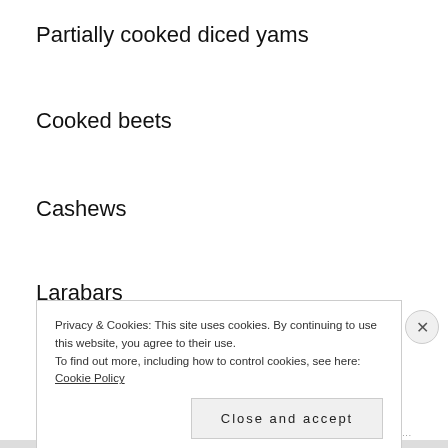Partially cooked diced yams
Cooked beets
Cashews
Larabars
Date/Coconut balls
Privacy & Cookies: This site uses cookies. By continuing to use this website, you agree to their use.
To find out more, including how to control cookies, see here: Cookie Policy
Close and accept